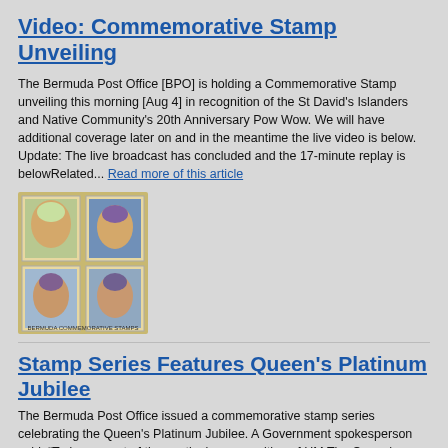Video: Commemorative Stamp Unveiling
The Bermuda Post Office [BPO] is holding a Commemorative Stamp unveiling this morning [Aug 4] in recognition of the St David's Islanders and Native Community's 20th Anniversary Pow Wow. We will have additional coverage later on and in the meantime the live video is below. Update: The live broadcast has concluded and the 17-minute replay is belowRelated... Read more of this article
[Figure (photo): Commemorative stamp sheet featuring Queen Elizabeth II portrait in various stamps]
Stamp Series Features Queen's Platinum Jubilee
The Bermuda Post Office issued a commemorative stamp series celebrating the Queen's Platinum Jubilee. A Government spokesperson said, “Today as part of the continuing recognition of HM The Queen's Platinum Jubilee, the Bermuda Post Office [BPO] issued a commemorative stamp series highlighting the milestone occasion. “As the public is aware,... Read more of this article
[Figure (photo): Image related to Bermuda stamp series for Queen's Platinum Jubilee]